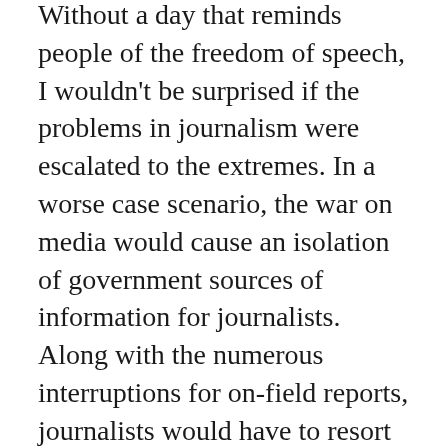Without a day that reminds people of the freedom of speech, I wouldn't be surprised if the problems in journalism were escalated to the extremes. In a worse case scenario, the war on media would cause an isolation of government sources of information for journalists. Along with the numerous interruptions for on-field reports, journalists would have to resort to breaking laws in order to uncover facts.
The struggles that journalists reflect on World Press Freedom Day usually stem from government and law-enforcement interference. Instead of arresting journalists for doing their jobs, they should try whatever they can to protect the first amendment. The First Amendment Right allows people to know the truth about what's happening in the world